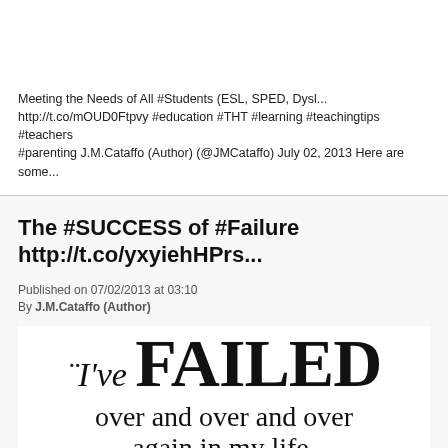Meeting the Needs of All #Students (ESL, SPED, Dysl... http://t.co/mOUD0Ftpvy #education #THT #learning #teachingtips #teachers #parenting J.M.Cataffo (Author) (@JMCataffo) July 02, 2013 Here are some...
The #SUCCESS of #Failure http://t.co/yxyiehHPrs...
Published on 07/02/2013 at 03:10
By J.M.Cataffo (Author)
[Figure (illustration): Typography illustration showing the quote: 'I've failed over and over and over again in my life. And that is why I...' in mixed serif fonts with 'failed' displayed in large bold uppercase letters.]